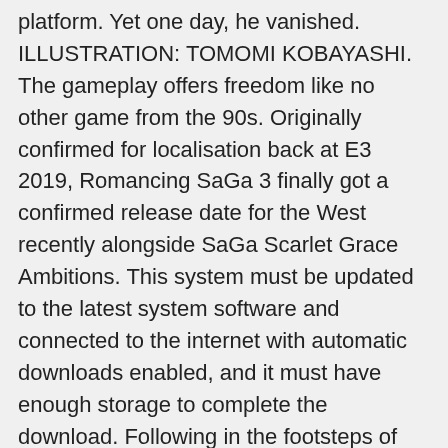platform. Yet one day, he vanished. ILLUSTRATION: TOMOMI KOBAYASHI. The gameplay offers freedom like no other game from the 90s. Originally confirmed for localisation back at E3 2019, Romancing SaGa 3 finally got a confirmed release date for the West recently alongside SaGa Scarlet Grace Ambitions. This system must be updated to the latest system software and connected to the internet with automatic downloads enabled, and it must have enough storage to complete the download. Following in the footsteps of Romancing SaGa 2 in 2017, the celebrated JRPG Romancing SaGa 3 has now journeyed to the West. Developed by industry veterans including the legendary developer Akitoshi Kawazu, Romancing SaGa™ 3 was originally released in Japan in 1995. Thank you for visiting the Nintendo website! You are about to leave the Nintendo of Europe site. Square Enix announced today that Romancing SaGa 3 will launch digitally for PS4, Xbox One, Switch, PS Vita, PC via Windows 10 and Steam, iOS, and Android on November 11. Release Date: Nov 11, 2019. Romancing SaGa 3's Remaster finally got a release date, at least in Japan, after over two years of wait. She came to be known as the Matriarch. Nintendo of Europe is not responsible for the content or...